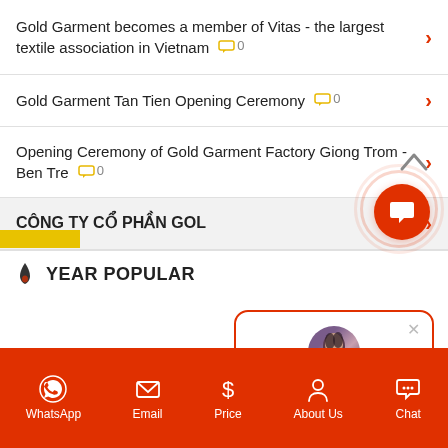Gold Garment becomes a member of Vitas - the largest textile association in Vietnam ◯ 0
Gold Garment Tan Tien Opening Ceremony ◯ 0
Opening Ceremony of Gold Garment Factory Giong Trom - Ben Tre ◯ 0
CÔNG TY CỔ PHẦN GOL...
[Figure (screenshot): Chat popup with avatar photo of 'Rose', message: Hello, can i help you?]
🔥 YEAR POPULAR
[Figure (infographic): Chat button (red circle with speech icon) and scroll-up chevron, and bottom navigation bar with WhatsApp, Email, Price, About Us, Chat icons]